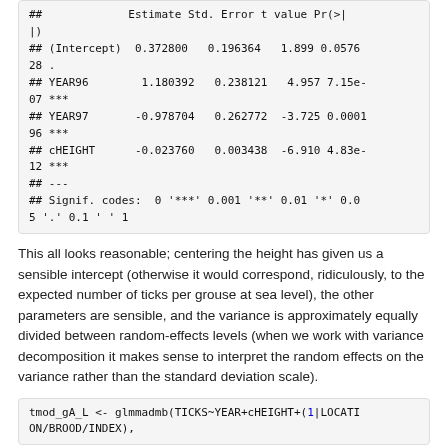## (Intercept) 0.372800 0.196364 1.899 0.057628 .
## YEAR96 1.180392 0.238121 4.957 7.15e-07 ***
## YEAR97 -0.978704 0.262772 -3.725 0.000196 ***
## cHEIGHT -0.023760 0.003438 -6.910 4.83e-12 ***
## ---
## Signif. codes: 0 '***' 0.001 '**' 0.01 '*' 0.05 '.' 0.1 ' ' 1
This all looks reasonable; centering the height has given us a sensible intercept (otherwise it would correspond, ridiculously, to the expected number of ticks per grouse at sea level), the other parameters are sensible, and the variance is approximately equally divided between random-effects levels (when we work with variance decomposition it makes sense to interpret the random effects on the variance rather than the standard deviation scale).
tmod_gA_L <- glmmadmb(TICKS~YEAR+cHEIGHT+(1|LOCATION/BROOD/INDEX),